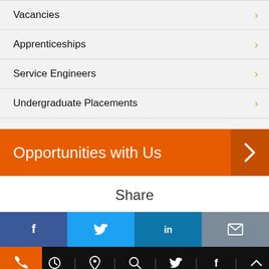Vacancies
Apprenticeships
Service Engineers
Undergraduate Placements
Opportunities with Us
Share
[Figure (infographic): Social share buttons: Facebook, Twitter, LinkedIn, Email]
[Figure (infographic): Bottom navigation bar with phone, clock, location, search, twitter, facebook, and up-arrow icons]